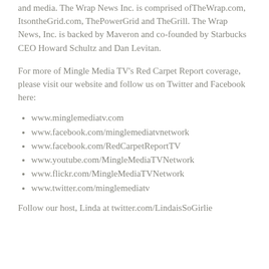and media. The Wrap News Inc. is comprised ofTheWrap.com, ItsontheGrid.com, ThePowerGrid and TheGrill. The Wrap News, Inc. is backed by Maveron and co-founded by Starbucks CEO Howard Schultz and Dan Levitan.
For more of Mingle Media TV's Red Carpet Report coverage, please visit our website and follow us on Twitter and Facebook here:
www.minglemediatv.com
www.facebook.com/minglemediatvnetwork
www.facebook.com/RedCarpetReportTV
www.youtube.com/MingleMediaTVNetwork
www.flickr.com/MingleMediaTVNetwork
www.twitter.com/minglemediatv
Follow our host, Linda at twitter.com/LindaisSoGirlie